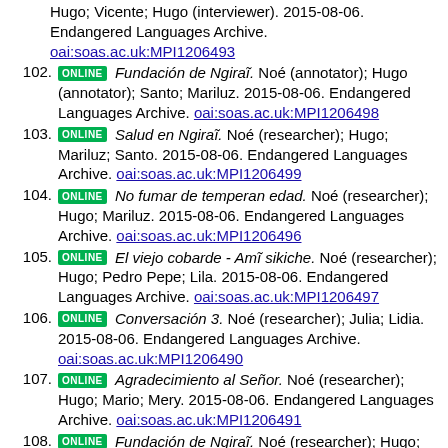Hugo; Vicente; Hugo (interviewer). 2015-08-06. Endangered Languages Archive. oai:soas.ac.uk:MPI1206493
102. ONLINE Fundación de Ngiraĩ. Noé (annotator); Hugo (annotator); Santo; Mariluz. 2015-08-06. Endangered Languages Archive. oai:soas.ac.uk:MPI1206498
103. ONLINE Salud en Ngiraĩ. Noé (researcher); Hugo; Mariluz; Santo. 2015-08-06. Endangered Languages Archive. oai:soas.ac.uk:MPI1206499
104. ONLINE No fumar de temperan edad. Noé (researcher); Hugo; Mariluz. 2015-08-06. Endangered Languages Archive. oai:soas.ac.uk:MPI1206496
105. ONLINE El viejo cobarde - Amĩ sikiche. Noé (researcher); Hugo; Pedro Pepe; Lila. 2015-08-06. Endangered Languages Archive. oai:soas.ac.uk:MPI1206497
106. ONLINE Conversación 3. Noé (researcher); Julia; Lidia. 2015-08-06. Endangered Languages Archive. oai:soas.ac.uk:MPI1206490
107. ONLINE Agradecimiento al Señor. Noé (researcher); Hugo; Mario; Mery. 2015-08-06. Endangered Languages Archive. oai:soas.ac.uk:MPI1206491
108. ONLINE Fundación de Ngiraĩ. Noé (researcher); Hugo; Mariluz; Santo. 2015-08-06. Endangered Languages Archive. oai:soas.ac.uk:MPI1206488
109. ONLINE Juan Anderson llego. Noé (researcher); Hugo; Hernan; Rosa. 2015-08-06. Endangered Languages Archive. oai:soas.ac.uk:MPI1206489
110. ONLINE 00271. Noé (researcher); Hugo; Carmen. 2015-08-06. Endangered Languages Archive.